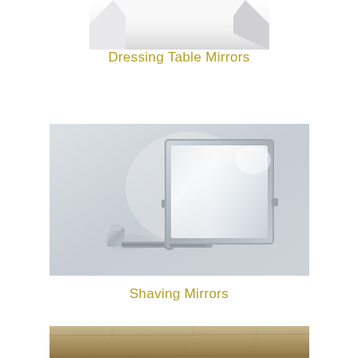[Figure (photo): Partial top view of a white dressing table mirror product box]
Dressing Table Mirrors
[Figure (photo): Wall-mounted chrome shaving mirror with articulated arm, square frame, on gray background]
Shaving Mirrors
[Figure (photo): Bottom partial view of a stone or wood textured surface]